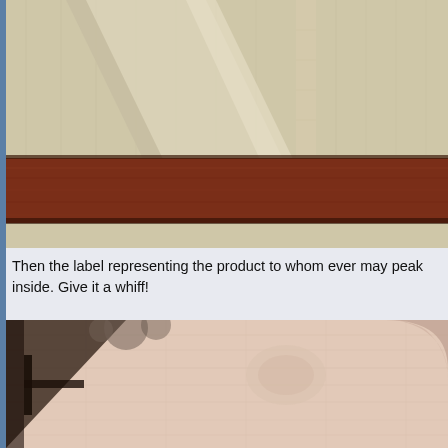[Figure (photo): Close-up photo of wooden boards/panels showing light maple-colored wood and a darker reddish-brown wood piece crossing diagonally, with visible wood grain and a narrow gap between pieces.]
Then the label representing the product to whom ever may peak inside. Give it a whiff!
[Figure (photo): Close-up photo of a light pinkish-beige wood panel with visible grain texture, showing a darker shadow area in the lower left and partial view of curved wooden piece at upper right.]